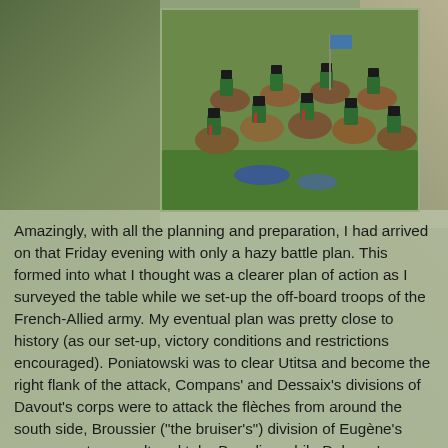[Figure (photo): Miniature wargame figures depicting Napoleonic cavalry soldiers in green uniforms on horseback, with fallen figures on a grass battlefield base.]
Amazingly, with all the planning and preparation, I had arrived on that Friday evening with only a hazy battle plan. This formed into what I thought was a clearer plan of action as I surveyed the table while we set-up the off-board troops of the French-Allied army. My eventual plan was pretty close to history (as our set-up, victory conditions and restrictions encouraged). Poniatowski was to clear Utitsa and become the right flank of the attack, Compans' and Dessaix's divisions of Davout's corps were to attack the flèches from around the south side, Broussier ("the bruiser's") division of Eugène's corps was to assault and take Borodino while Delzons' division (IV Corps), supported by Morand's, was to assault the Grand Redoubt from the north supported by